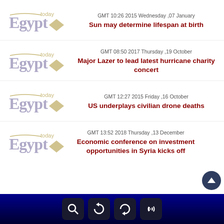[Figure (logo): Egypt Today logo - stylized text with diamond shape]
GMT 10:26 2015 Wednesday ,07 January
Sun may determine lifespan at birth
[Figure (logo): Egypt Today logo - stylized text with diamond shape]
GMT 08:50 2017 Thursday ,19 October
Major Lazer to lead latest hurricane charity concert
[Figure (logo): Egypt Today logo - stylized text with diamond shape]
GMT 12:27 2015 Friday ,16 October
US underplays civilian drone deaths
[Figure (logo): Egypt Today logo - stylized text with diamond shape]
GMT 13:52 2018 Thursday ,13 December
Economic conference on investment opportunities in Syria kicks off
[Figure (infographic): Dark blue footer bar with four icon buttons: search, refresh, back, phone/signal]